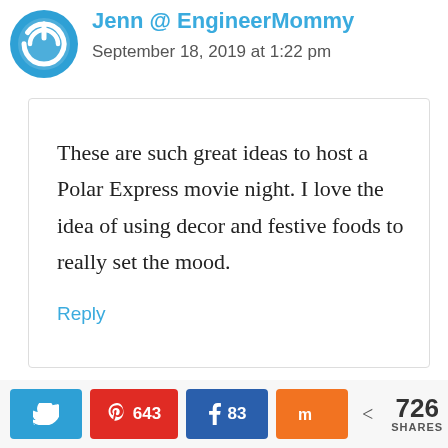[Figure (logo): Blue circular power button logo icon for EngineerMommy blog]
Jenn @ EngineerMommy
September 18, 2019 at 1:22 pm
These are such great ideas to host a Polar Express movie night. I love the idea of using decor and festive foods to really set the mood.
Reply
726 SHARES